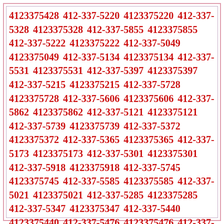4123375428 412-337-5220 4123375220 412-337-5328 4123375328 412-337-5855 4123375855 412-337-5222 4123375222 412-337-5049 4123375049 412-337-5134 4123375134 412-337-5531 4123375531 412-337-5397 4123375397 412-337-5215 4123375215 412-337-5728 4123375728 412-337-5606 4123375606 412-337-5862 4123375862 412-337-5121 4123375121 412-337-5739 4123375739 412-337-5372 4123375372 412-337-5365 4123375365 412-337-5173 4123375173 412-337-5301 4123375301 412-337-5918 4123375918 412-337-5745 4123375745 412-337-5585 4123375585 412-337-5021 4123375021 412-337-5285 4123375285 412-337-5347 4123375347 412-337-5440 4123375440 412-337-5476 4123375476 412-337-5335 4123375335 412-337-5696 4123375696 412-337-5010 4123375010 412-337-5594 4123375594 412-337-5893 4123375893 412-337-5841 4123375841 412-337-5530 4123375530 412-337-5824 4123375824 412-